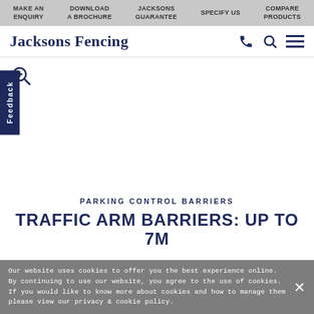MAKE AN ENQUIRY | DOWNLOAD A BROCHURE | JACKSONS GUARANTEE | SPECIFY US | COMPARE PRODUCTS
Jacksons Fencing
[Figure (screenshot): White blank product image area with zoom/magnify icon in top left corner and Feedback tab on left side]
PARKING CONTROL BARRIERS
TRAFFIC ARM BARRIERS: UP TO 7M
Our website uses cookies to offer you the best experience online. By continuing to use our website, you agree to the use of cookies. If you would like to know more about cookies and how to manage them please view our privacy & cookie policy.